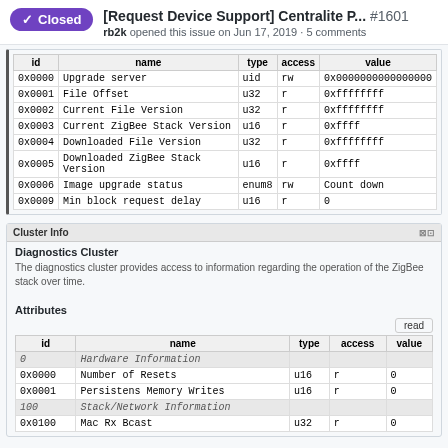[Request Device Support] Centralite P... #1601
rb2k opened this issue on Jun 17, 2019 · 5 comments
| id | name | type | access | value |
| --- | --- | --- | --- | --- |
| 0x0000 | Upgrade server | uid | rw | 0x0000000000000000 |
| 0x0001 | File Offset | u32 | r | 0xffffffff |
| 0x0002 | Current File Version | u32 | r | 0xffffffff |
| 0x0003 | Current ZigBee Stack Version | u16 | r | 0xffff |
| 0x0004 | Downloaded File Version | u32 | r | 0xffffffff |
| 0x0005 | Downloaded ZigBee Stack Version | u16 | r | 0xffff |
| 0x0006 | Image upgrade status | enum8 | rw | Count down |
| 0x0009 | Min block request delay | u16 | r | 0 |
Cluster Info
Diagnostics Cluster
The diagnostics cluster provides access to information regarding the operation of the ZigBee stack over time.
Attributes
| id | name | type | access | value |
| --- | --- | --- | --- | --- |
| 0 | Hardware Information |  |  |  |
| 0x0000 | Number of Resets | u16 | r | 0 |
| 0x0001 | Persistens Memory Writes | u16 | r | 0 |
| 100 | Stack/Network Information |  |  |  |
| 0x0100 | Mac Rx Bcast | u32 | r | 0 |